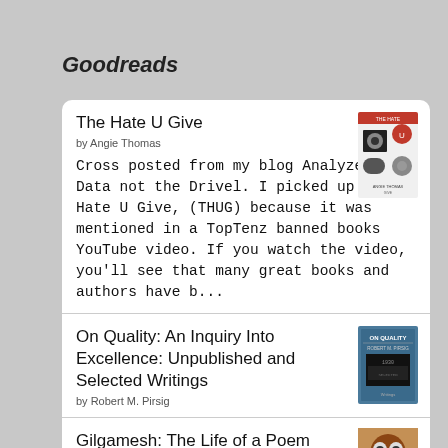Goodreads
The Hate U Give
by Angie Thomas
Cross posted from my blog Analyze the Data not the Drivel. I picked up The Hate U Give, (THUG) because it was mentioned in a TopTenz banned books YouTube video. If you watch the video, you'll see that many great books and authors have b...
On Quality: An Inquiry Into Excellence: Unpublished and Selected Writings
by Robert M. Pirsig
Gilgamesh: The Life of a Poem
by Michael Schmidt